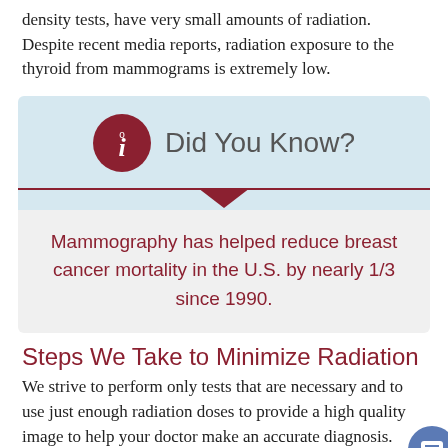density tests, have very small amounts of radiation. Despite recent media reports, radiation exposure to the thyroid from mammograms is extremely low.
[Figure (infographic): Did You Know? info box with dark red circle info icon and light blue background header, followed by light gray box containing text about mammography reducing breast cancer mortality.]
Steps We Take to Minimize Radiation
We strive to perform only tests that are necessary and to use just enough radiation doses to provide a high quality image to help your doctor make an accurate diagnosis. Here are a few examples of how